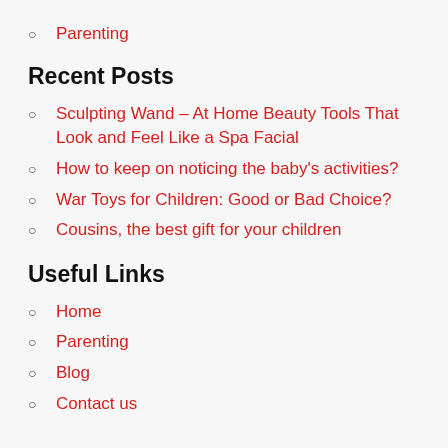Parenting
Recent Posts
Sculpting Wand – At Home Beauty Tools That Look and Feel Like a Spa Facial
How to keep on noticing the baby's activities?
War Toys for Children: Good or Bad Choice?
Cousins, the best gift for your children
Useful Links
Home
Parenting
Blog
Contact us